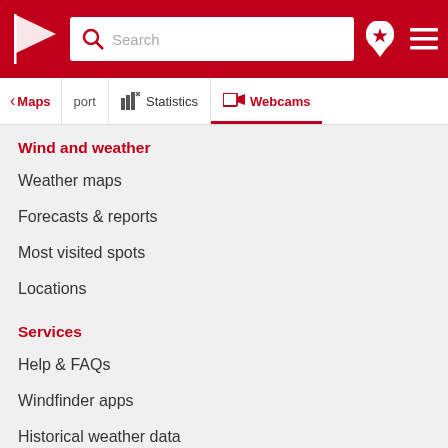Windfinder - Search bar header with logo, search, location and menu icons
Maps | port | Statistics | Webcams
Wind and weather
Weather maps
Forecasts & reports
Most visited spots
Locations
Services
Help & FAQs
Windfinder apps
Historical weather data
Weather widgets
Wind speed table